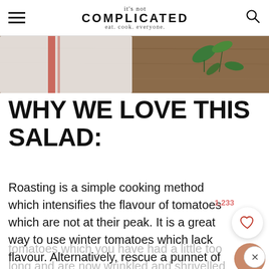it's not COMPLICATED — eat. cook. everyone.
[Figure (photo): Partial view of a food photo showing a white cloth/napkin and green herb leaves on a wooden surface]
WHY WE LOVE THIS SALAD:
Roasting is a simple cooking method which intensifies the flavour of tomatoes which are not at their peak. It is a great way to use winter tomatoes which lack flavour. Alternatively, rescue a punnet of
tomatoes which you have had a little too long and are now wrinkled and shrivelled